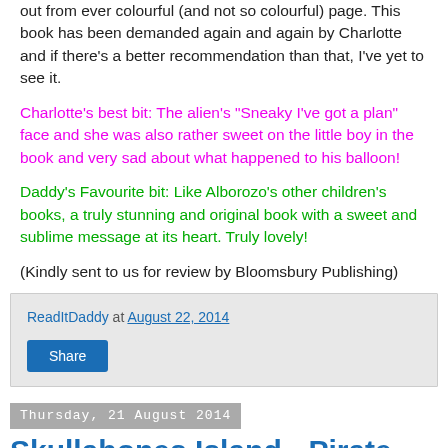out from ever colourful (and not so colourful) page. This book has been demanded again and again by Charlotte and if there's a better recommendation than that, I've yet to see it.
Charlotte's best bit: The alien's "Sneaky I've got a plan" face and she was also rather sweet on the little boy in the book and very sad about what happened to his balloon!
Daddy's Favourite bit: Like Alborozo's other children's books, a truly stunning and original book with a sweet and sublime message at its heart. Truly lovely!
(Kindly sent to us for review by Bloomsbury Publishing)
ReadItDaddy at August 22, 2014
Share
Thursday, 21 August 2014
Skullabones Island - Pirate Post / How to Draw Skullabones Pirates (and a lot...